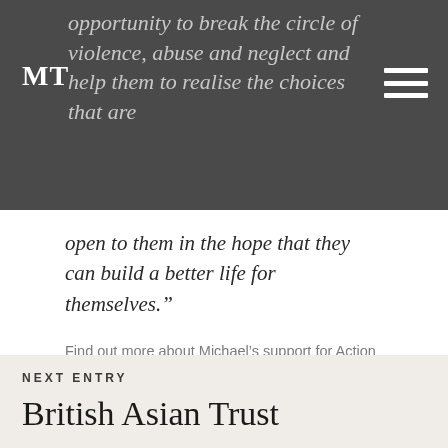opportunity to break the circle of violence, abuse and neglect and help them to realise the choices that are
open to them in the hope that they can build a better life for themselves.”
Find out more about Michael’s support for Action for Children here.
NEXT ENTRY
British Asian Trust